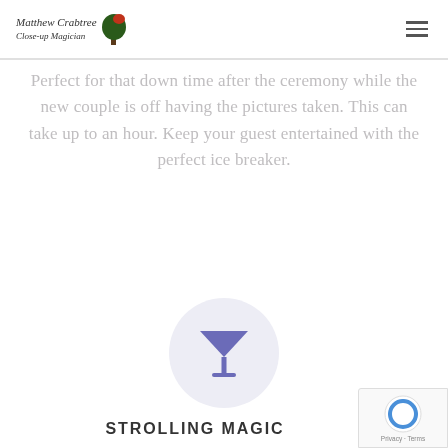Matthew Crabtree Close-up Magician
Perfect for that down time after the ceremony while the new couple is off having the pictures taken. This can take up to an hour. Keep your guest entertained with the perfect ice breaker.
[Figure (illustration): A purple/blue martini glass icon centered inside a light lavender circle]
STROLLING MAGIC